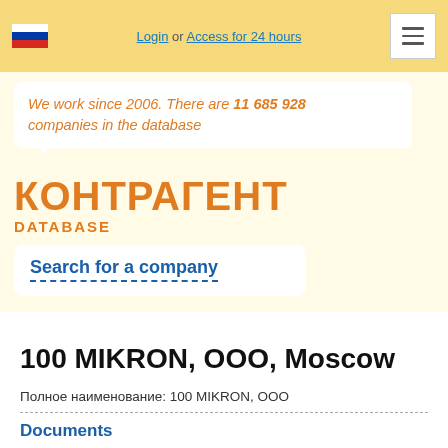Login or Access for 24 hours
We work since 2006. There are 11 685 928 companies in the database
КОНТРАГЕНТ DATABASE
Search for a company
100 MIKRON, OOO, Moscow
Полное наименование: 100 MIKRON, OOO
Documents
Extract from EGRUL